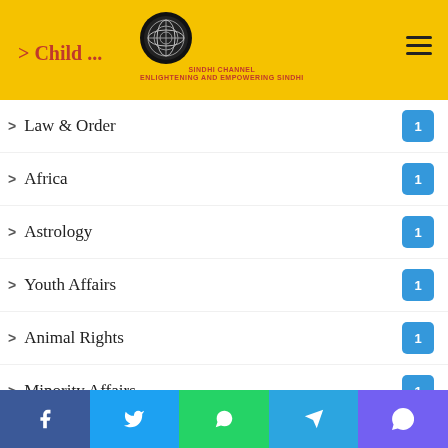Sindhi Channel
Law & Order   1
Africa   1
Astrology   1
Youth Affairs   1
Animal Rights   1
Minority Affairs   1
Judiciary   1
Excerpts From Book   1
International Peacekeepers Day   1
Sindhi Literature – Poetry   1
U.S. Independence Day   1